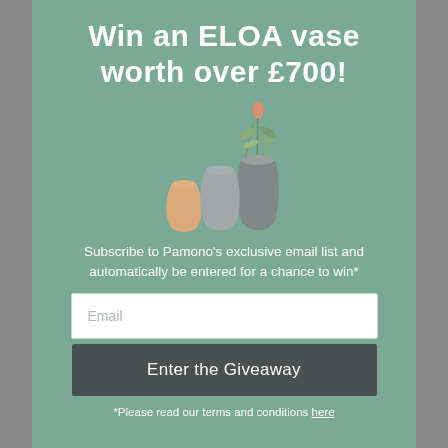Win an ELOA vase worth over £700!
[Figure (illustration): Three ELOA decorative vases: a small warm amber/peach frosted vase, a medium smoky grey frosted vase, and a tall dark grey frosted vase with green plant sprigs arranged inside.]
Subscribe to Pamono's exclusive email list and automatically be entered for a chance to win*
Email
Enter the Giveaway
*Please read our terms and conditions here